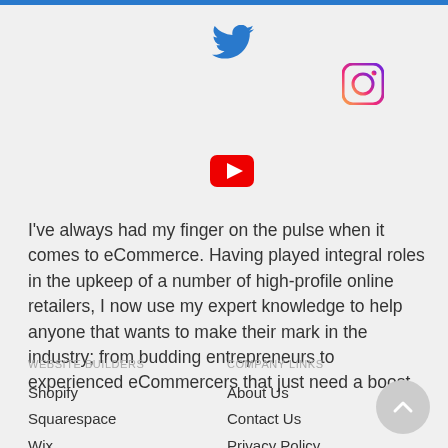[Figure (logo): Twitter bird icon in blue]
[Figure (logo): Instagram gradient icon]
[Figure (logo): YouTube red play button icon]
I've always had my finger on the pulse when it comes to eCommerce. Having played integral roles in the upkeep of a number of high-profile online retailers, I now use my expert knowledge to help anyone that wants to make their mark in the industry; from budding entrepreneurs to experienced eCommercers that just need a boost.
WEBSITE BUILDERS
COMPANY LINKS
Shopify
Squarespace
Wix
Volusion
About Us
Contact Us
Privacy Policy
Disclosure